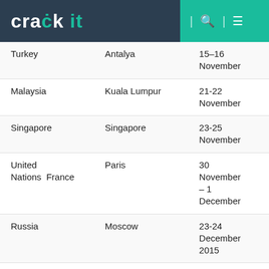crack it
| Turkey | Antalya | 15–16 November |
| Malaysia | Kuala Lumpur | 21-22 November |
| Singapore | Singapore | 23-25 November |
| United Nations  France | Paris | 30 November – 1 December |
| Russia | Moscow | 23-24 December 2015 |
| Afghanistan | Kabul | 25 December |